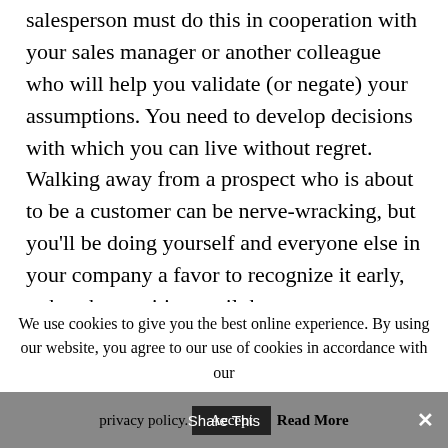salesperson must do this in cooperation with your sales manager or another colleague who will help you validate (or negate) your assumptions. You need to develop decisions with which you can live without regret. Walking away from a prospect who is about to be a customer can be nerve-wracking, but you'll be doing yourself and everyone else in your company a favor to recognize it early, rather than waiting until the prospect turns
We use cookies to give you the best online experience. By using our website, you agree to our use of cookies in accordance with our privacy policy.
Accept   Share This   Read More   ×